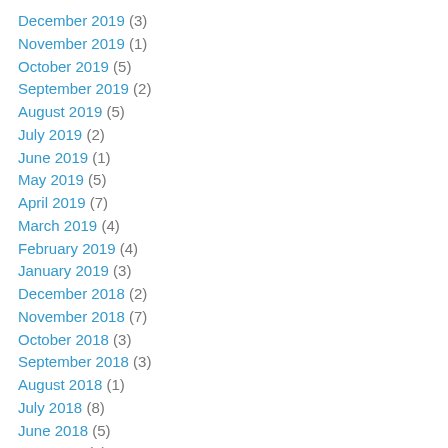December 2019 (3)
November 2019 (1)
October 2019 (5)
September 2019 (2)
August 2019 (5)
July 2019 (2)
June 2019 (1)
May 2019 (5)
April 2019 (7)
March 2019 (4)
February 2019 (4)
January 2019 (3)
December 2018 (2)
November 2018 (7)
October 2018 (3)
September 2018 (3)
August 2018 (1)
July 2018 (8)
June 2018 (5)
May 2018 (4)